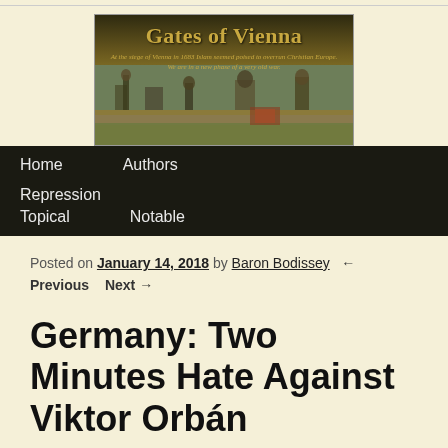[Figure (illustration): Gates of Vienna blog banner showing a historical painting of the city of Vienna with the title 'Gates of Vienna' and subtitle text about Islam and Christian Europe]
Home   Authors   Repression   Topical   Notable
Posted on January 14, 2018 by Baron Bodissey   ← Previous   Next →
Germany: Two Minutes Hate Against Viktor Orbán